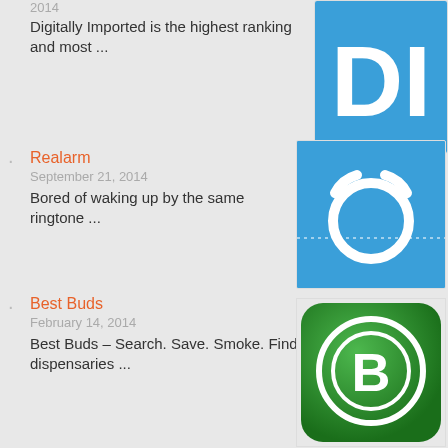2014
Digitally Imported is the highest ranking and most ...
[Figure (logo): Digitally Imported blue logo with 'DI' letters on blue background]
Realarm
September 21, 2014
Bored of waking up by the same ringtone ...
[Figure (logo): Realarm app icon - blue square with white alarm clock ring graphic and dotted line across middle]
Best Buds
February 14, 2014
Best Buds – Search. Save. Smoke. Find dispensaries ...
[Figure (logo): Best Buds app icon - green rounded square with white B letter in circle]